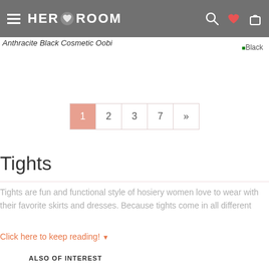HER ROOM
Anthracite Black Cosmetic Oobi
[Figure (screenshot): Pagination bar with pages 1 (active), 2, 3, 7, and next arrow >>]
Tights
Tights are fun and functional style of hosiery women love to wear with their favorite skirts and dresses. Because tights come in all different
Click here to keep reading! ▼
ALSO OF INTEREST
High Waist Hosiery
Fishnet Tights
Thigh High Hosiery